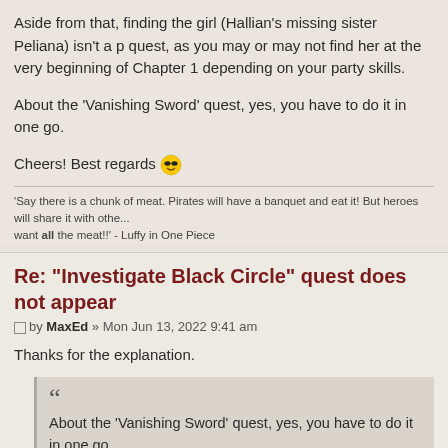Aside from that, finding the girl (Hallian's missing sister Peliana) isn't a primary quest, as you may or may not find her at the very beginning of Chapter 1 depending on your party skills.
About the 'Vanishing Sword' quest, yes, you have to do it in one go.
Cheers! Best regards 😎
'Say there is a chunk of meat. Pirates will have a banquet and eat it! But heroes will share it with othe... want all the meat!!' - Luffy in One Piece
Re: "Investigate Black Circle" quest does not appear
by MaxEd » Mon Jun 13, 2022 9:41 am
Thanks for the explanation.
About the 'Vanishing Sword' quest, yes, you have to do it in one go.
The problem is, I don't remember resting during the quest... Does a visit to tavern alone triggers the failure condition?